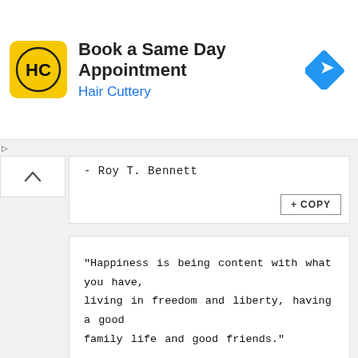[Figure (screenshot): Hair Cuttery advertisement banner with yellow logo showing HC letters, title 'Book a Same Day Appointment', subtitle 'Hair Cuttery' in blue, and a blue navigation arrow icon on the right]
- Roy T. Bennett
"Happiness is being content with what you have, living in freedom and liberty, having a good family life and good friends."

- Divyanka Tripathi